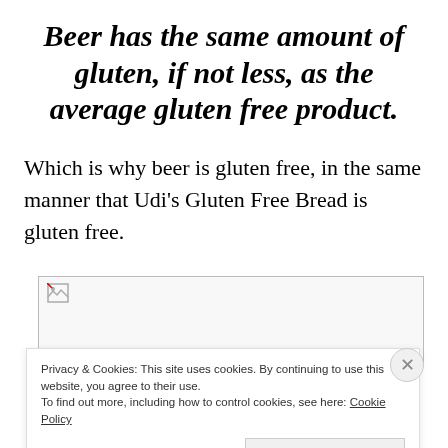Beer has the same amount of gluten, if not less, as the average gluten free product.
Which is why beer is gluten free, in the same manner that Udi's Gluten Free Bread is gluten free.
[Figure (other): Broken image placeholder with small torn-image icon]
Privacy & Cookies: This site uses cookies. By continuing to use this website, you agree to their use. To find out more, including how to control cookies, see here: Cookie Policy